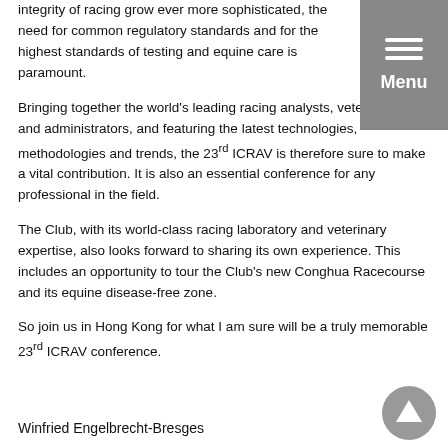integrity of racing grow ever more sophisticated, the need for common regulatory standards and for the highest standards of testing and equine care is paramount.
Bringing together the world's leading racing analysts, veterinarians and administrators, and featuring the latest technologies, methodologies and trends, the 23rd ICRAV is therefore sure to make a vital contribution. It is also an essential conference for any professional in the field.
The Club, with its world-class racing laboratory and veterinary expertise, also looks forward to sharing its own experience. This includes an opportunity to tour the Club's new Conghua Racecourse and its equine disease-free zone.
So join us in Hong Kong for what I am sure will be a truly memorable 23rd ICRAV conference.
Winfried Engelbrecht-Bresges